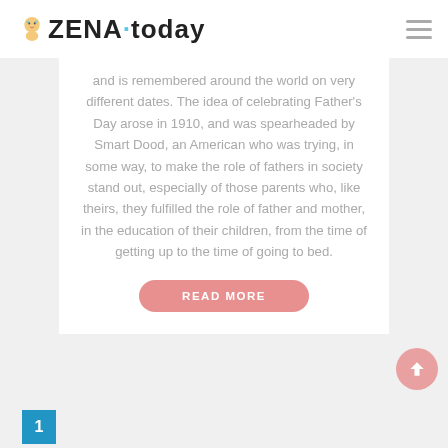ZENA today
and is remembered around the world on very different dates. The idea of celebrating Father's Day arose in 1910, and was spearheaded by Smart Dood, an American who was trying, in some way, to make the role of fathers in society stand out, especially of those parents who, like theirs, they fulfilled the role of father and mother, in the education of their children, from the time of getting up to the time of going to bed.
READ MORE
1